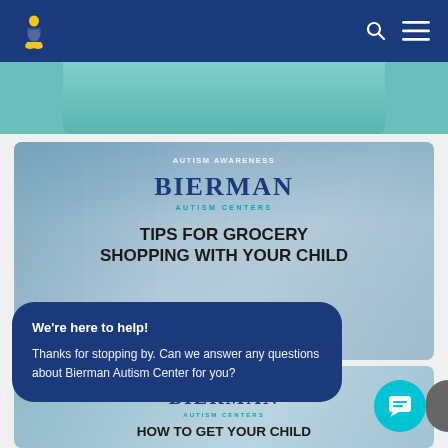Bierman Autism Centers navigation bar with penguin logo, search icon, and menu icon
[Figure (screenshot): Partial top image from previous card showing teal/green background]
[Figure (screenshot): Bierman Autism Centers card: AUTISM AWARENESS label, BIERMAN AUTISM CENTERS logo, title TIPS FOR GROCERY SHOPPING WITH YOUR CHILD, subtitle TIPS & TRICKS FROM BIERMAN'S BCBAS, grocery store aisle background image with people]
We're here to help!
Thanks for stopping by. Can we answer any questions about Bierman Autism Center for you?
[Figure (screenshot): Partial Bierman Autism Centers card: AUTISM AWARENESS label, BIERMAN AUTISM CENTERS logo, partial title HOW TO GET YOUR CHILD]
[Figure (other): Cyan circular chat button with message icon, and partially visible dark circular button behind it]